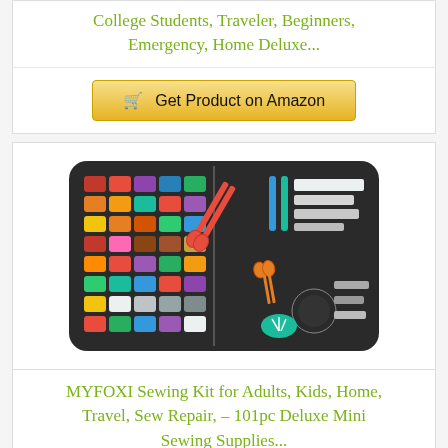College Students, Traveler, Beginners, Emergency, Home Deluxe...
Get Product on Amazon
[Figure (photo): Open sewing kit case showing colorful thread spools on the left side and sewing tools including scissors, needles, and accessories on the right side]
MYFOXI Sewing Kit for Adults, Kids, Home, Travel, Sew Repair, – 101pc Deluxe Mini Sewing Supplies...